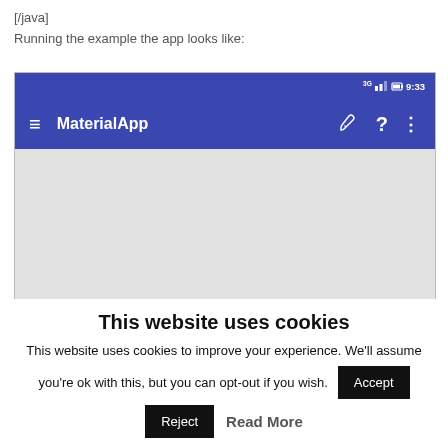[/java]
Running the example the app looks like:
[Figure (screenshot): Android app screenshot showing a blue toolbar with hamburger menu, title 'MaterialApp', wrench icon, question mark, and vertical dots. Below is a grey empty content area.]
This website uses cookies
This website uses cookies to improve your experience. We'll assume you're ok with this, but you can opt-out if you wish.
Accept
Reject
Read More